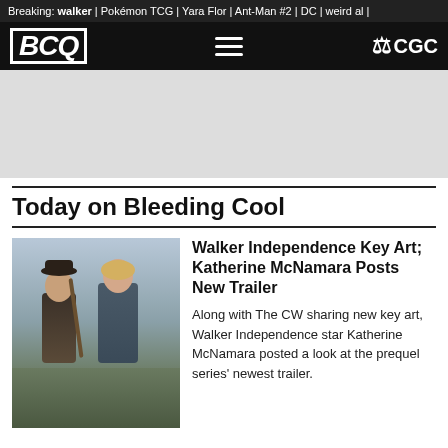Breaking: walker | Pokémon TCG | Yara Flor | Ant-Man #2 | DC | weird al |
[Figure (logo): Bleeding Cool logo (BCQ) and CGC logo on black navigation bar]
[Figure (other): Gray advertisement placeholder banner]
Today on Bleeding Cool
[Figure (photo): Walker Independence promotional key art showing two characters with the title 'INDEPENDENCE' at the bottom]
Walker Independence Key Art; Katherine McNamara Posts New Trailer
Along with The CW sharing new key art, Walker Independence star Katherine McNamara posted a look at the prequel series' newest trailer.